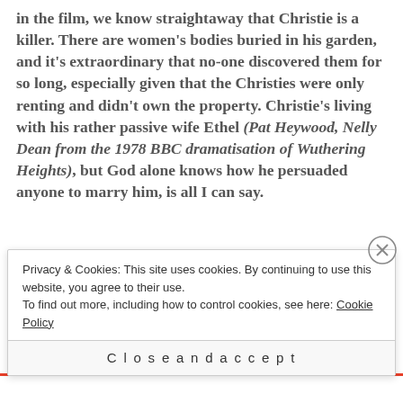in the film, we know straightaway that Christie is a killer. There are women's bodies buried in his garden, and it's extraordinary that no-one discovered them for so long, especially given that the Christies were only renting and didn't own the property. Christie's living with his rather passive wife Ethel (Pat Heywood, Nelly Dean from the 1978 BBC dramatisation of Wuthering Heights), but God alone knows how he persuaded anyone to marry him, is all I can say.
What happens to his lodgers, Tim and Beryl
Privacy & Cookies: This site uses cookies. By continuing to use this website, you agree to their use. To find out more, including how to control cookies, see here: Cookie Policy
Close and accept